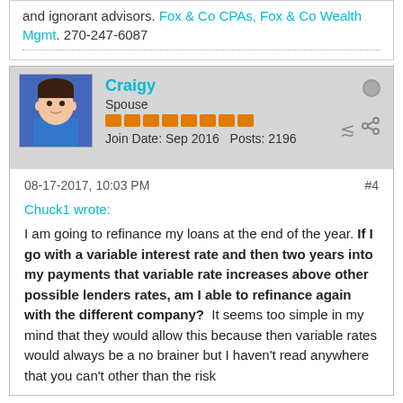and ignorant advisors. Fox & Co CPAs, Fox & Co Wealth Mgmt. 270-247-6087
Craigy
Spouse
Join Date: Sep 2016  Posts: 2196
08-17-2017, 10:03 PM
#4
Chuck1 wrote:
I am going to refinance my loans at the end of the year. If I go with a variable interest rate and then two years into my payments that variable rate increases above other possible lenders rates, am I able to refinance again with the different company? It seems too simple in my mind that they would allow this because then variable rates would always be a no brainer but I haven't read anywhere that you can't other than the risk